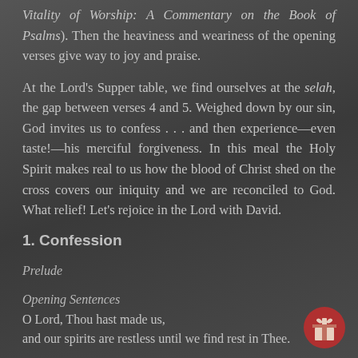Vitality of Worship: A Commentary on the Book of Psalms). Then the heaviness and weariness of the opening verses give way to joy and praise.
At the Lord's Supper table, we find ourselves at the selah, the gap between verses 4 and 5. Weighed down by our sin, God invites us to confess . . . and then experience—even taste!—his merciful forgiveness. In this meal the Holy Spirit makes real to us how the blood of Christ shed on the cross covers our iniquity and we are reconciled to God. What relief! Let's rejoice in the Lord with David.
1. Confession
Prelude
Opening Sentences
O Lord, Thou hast made us,
and our spirits are restless until we find rest in Thee.